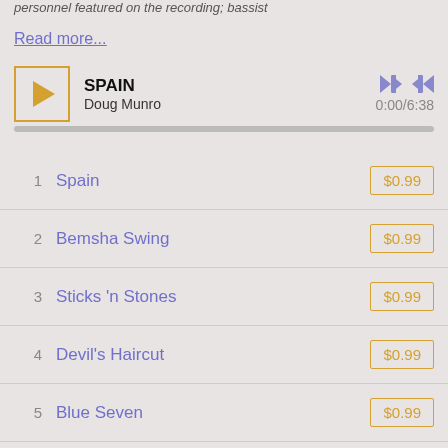personnel featured on the recording; bassist
Read more...
[Figure (other): Audio player with play button, track title SPAIN by Doug Munro, skip controls, and progress bar showing 0:00/6:38]
| # | Track | Price |
| --- | --- | --- |
| 1 | Spain | $0.99 |
| 2 | Bemsha Swing | $0.99 |
| 3 | Sticks 'n Stones | $0.99 |
| 4 | Devil's Haircut | $0.99 |
| 5 | Blue Seven | $0.99 |
| 6 | A Day At The Races | $0.99 |
| 7 | Little Sunflower | $0.99 |